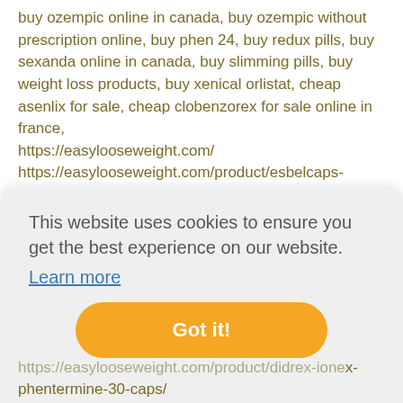buy ozempic online in canada, buy ozempic without prescription online, buy phen 24, buy redux pills, buy sexanda online in canada, buy slimming pills, buy weight loss products, buy xenical orlistat, cheap asenlix for sale, cheap clobenzorex for sale online in france, https://easylooseweight.com/ https://easylooseweight.com/product/esbelcaps-fenproporex-20mg-6mg/ https://easylooseweight.com/product/adipex-retard/ https://easylooseweight.com/shop/ cheap diety for sale, cheap fenproporex for sale, cheap itravil for sale in eu, cheapest price for all weight loss pills,
[Figure (screenshot): Cookie consent overlay popup with message 'This website uses cookies to ensure you get the best experience on our website.' with a 'Learn more' link and a 'Got it!' orange button. Behind the overlay, partially visible text continuing the list of weight loss product keywords.]
https://easylooseweight.com/product/didrex-ionex-phentermine-30-caps/